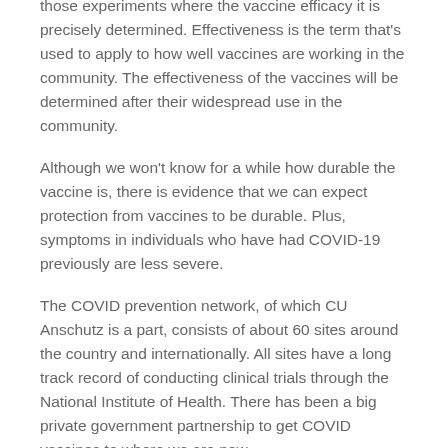those experiments where the vaccine efficacy it is precisely determined. Effectiveness is the term that's used to apply to how well vaccines are working in the community. The effectiveness of the vaccines will be determined after their widespread use in the community.
Although we won't know for a while how durable the vaccine is, there is evidence that we can expect protection from vaccines to be durable. Plus, symptoms in individuals who have had COVID-19 previously are less severe.
The COVID prevention network, of which CU Anschutz is a part, consists of about 60 sites around the country and internationally. All sites have a long track record of conducting clinical trials through the National Institute of Health. There has been a big private government partnership to get COVID vaccines to where we are now.